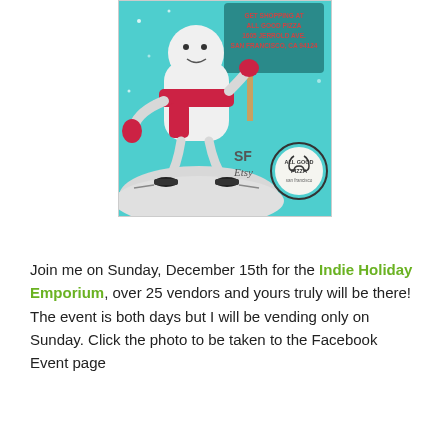[Figure (illustration): A cartoon marshmallow character wearing a red scarf and red gloves, ice skating on a snowy teal background. The marshmallow holds a teal sign on a wooden post with text: 'GET SHOPPING AT ALL GOOD PIZZA 1605 JERROLD AVE. SAN FRANCISCO, CA 94124'. Lower right shows 'SF Etsy' text and an 'ALL GOOD PIZZA san francisco' circular logo.]
Join me on Sunday, December 15th for the Indie Holiday Emporium, over 25 vendors and yours truly will be there! The event is both days but I will be vending only on Sunday. Click the photo to be taken to the Facebook Event page